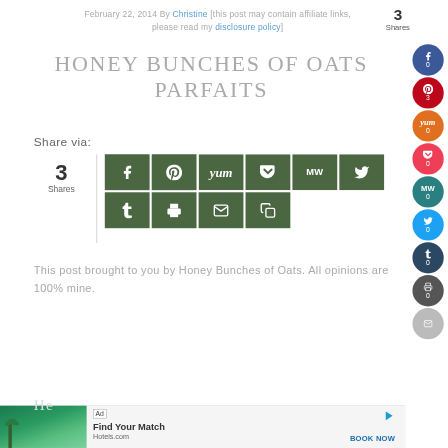February 22, 2014 By Christine [this post may contain affiliate links, please read my disclosure policy]
HONEY BUNCHES OF OATS PARFAITS
Share via:
[Figure (infographic): Social sharing buttons grid: Facebook, Pinterest, Yummly, Pocket, MW, Twitter (top row); Tumblr, Print, Email, Copy (bottom row). Left shows 3 Shares count.]
This post brought to you by Honey Bunches of Oats. All opinions are 100% mine.
[Figure (infographic): Right sidebar social share circles: Facebook (0), Pinterest (3), Yummly (0), Pocket (0), MW (0), Twitter (0), Tumblr (0), Print (0), Email]
[Figure (screenshot): Ad banner: Hotels.com ad showing 'Find Your Match' with tropical hotel image and BOOK NOW button]